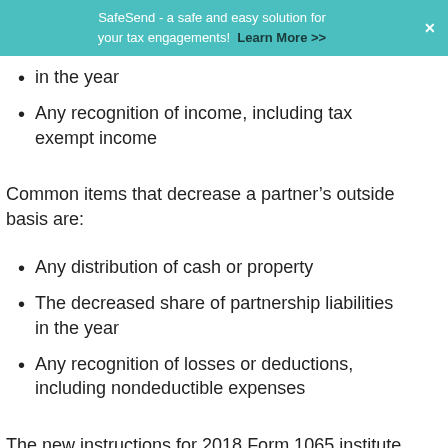SafeSend - a safe and easy solution for your tax engagements! Learn More >>
in the year
Any recognition of income, including tax exempt income
Common items that decrease a partner's outside basis are:
Any distribution of cash or property
The decreased share of partnership liabilities in the year
Any recognition of losses or deductions, including nondeductible expenses
The new instructions for 2018 Form 1065 institute a new requirement for the disclosure of each